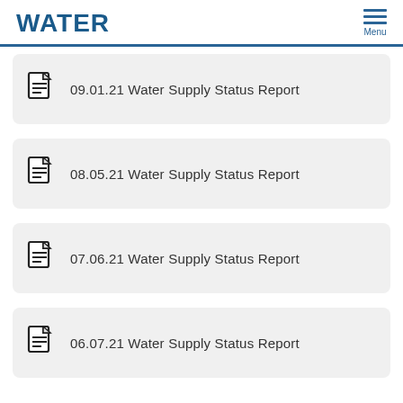WATER
09.01.21 Water Supply Status Report
08.05.21 Water Supply Status Report
07.06.21 Water Supply Status Report
06.07.21 Water Supply Status Report